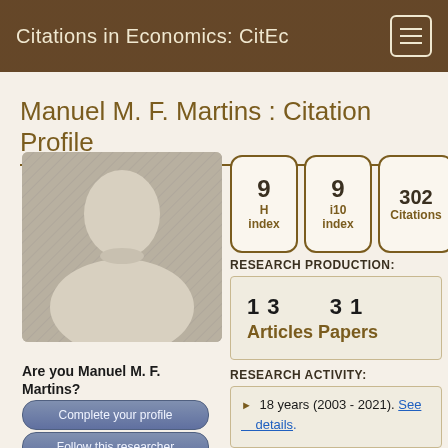Citations in Economics: CitEc
Manuel M. F. Martins : Citation Profile
[Figure (illustration): Placeholder silhouette of a person (head and shoulders) on grey background]
9 H index
9 i10 index
302 Citations
RESEARCH PRODUCTION:
13   31
Articles  Papers
Are you Manuel M. F. Martins?
Complete your profile
Follow this researcher
RESEARCH ACTIVITY:
18 years (2003 - 2021). See details.